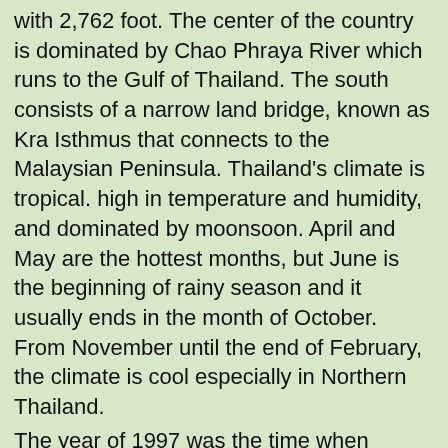...with 2,762 foot. The center of the country is dominated by Chao Phraya River which runs to the Gulf of Thailand. The south consists of a narrow land bridge, known as Kra Isthmus that connects to the Malaysian Peninsula. Thailand's climate is tropical. high in temperature and humidity, and dominated by moonsoon. April and May are the hottest months, but June is the beginning of rainy season and it usually ends in the month of October. From November until the end of February, the climate is cool especially in Northern Thailand.
The year of 1997 was the time when Thailand's economy collapsed. Baht currency reached it's lowest point of 56 from 25 against the US Dollar. Many foreign investors closed it's door, resulting for many Thai people to lose their jobs. Banks were bankrupt. Stocks and prices fell dramatically. After PM Thaksin Shinawatra won the 2001 election, there was a rapid growth in the country's economy. He implemented various domestic programs known as Thaksinomics. Foreign investors open it's door again for business, and tourism industry was in its peak.Thailands natural resources like tin,rubber,timber etc, also helps and contributes to the country's economy's GDP.
Thailand is a Buddhist country. According to the latest...